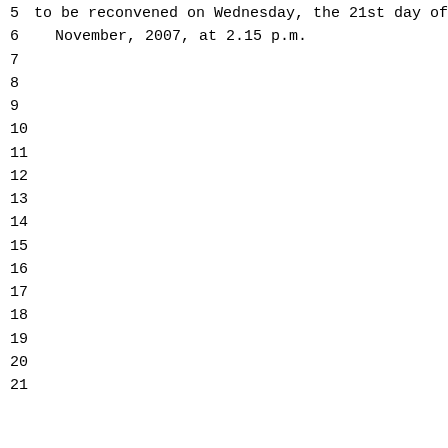5 to be reconvened on Wednesday, the 21st day of
6 November, 2007, at 2.15 p.m.
7
8
9
10
11
12
13
14
15
16
17
18
19
20
21